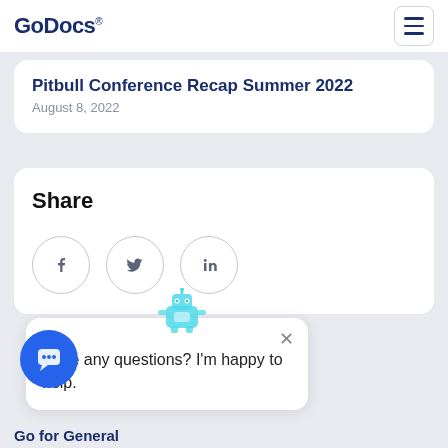GoDocs
Pitbull Conference Recap Summer 2022
August 8, 2022
Share
[Figure (infographic): Social share icons: Facebook, Twitter, LinkedIn in circular bordered buttons]
[Figure (illustration): Chatbot robot icon in cyan/light blue above the popup]
Have any questions? I'm happy to help.
[Figure (illustration): Blue circular chat button with speech bubble icon]
ct
Go for General